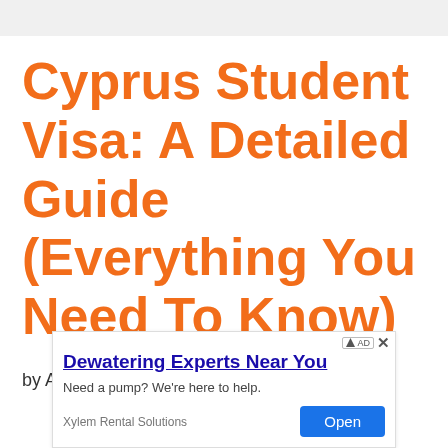Cyprus Student Visa: A Detailed Guide (Everything You Need To Know)
by Aashish Poudel Genuine
[Figure (other): Advertisement banner: 'Dewatering Experts Near You' by Xylem Rental Solutions. Text: 'Need a pump? We're here to help.' with an Open button.]